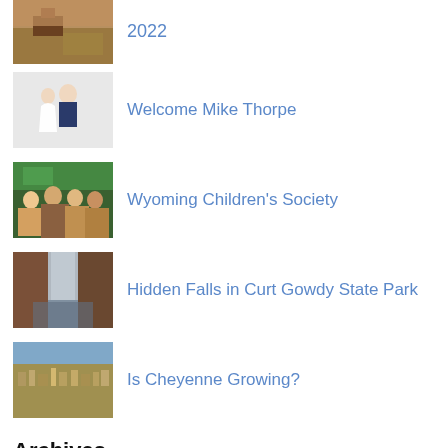[Figure (photo): Thumbnail of farm/rural landscape with barn and field]
2022
[Figure (photo): Thumbnail of wedding couple, bride and groom]
Welcome Mike Thorpe
[Figure (photo): Thumbnail of group of people at an indoor event]
Wyoming Children's Society
[Figure (photo): Thumbnail of waterfall between rock formations]
Hidden Falls in Curt Gowdy State Park
[Figure (photo): Thumbnail of aerial view of Cheyenne city]
Is Cheyenne Growing?
Archives
September 2022
August 2022
July 2022